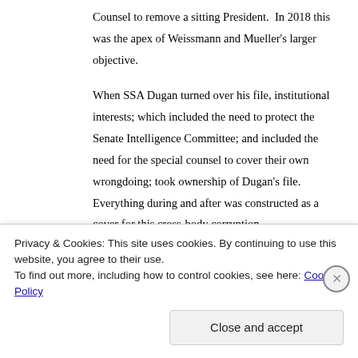Counsel to remove a sitting President.  In 2018 this was the apex of Weissmann and Mueller's larger objective.
When SSA Dugan turned over his file, institutional interests; which included the need to protect the Senate Intelligence Committee; and included the need for the special counsel to cover their own wrongdoing; took ownership of Dugan's file. Everything during and after was constructed as a cover for this cross-body corruption.
This cover-up included the July 21st release of the FISA application by the special counsel team that
Privacy & Cookies: This site uses cookies. By continuing to use this website, you agree to their use.
To find out more, including how to control cookies, see here: Cookie Policy
Close and accept